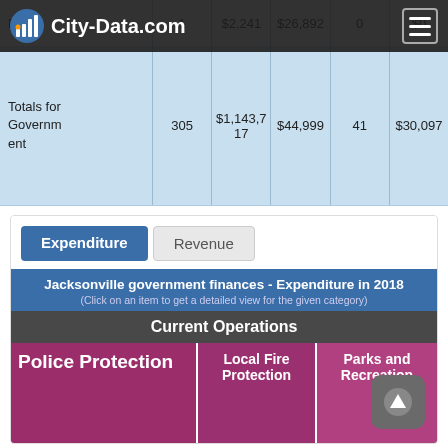|  | Employees | Payroll | Total Expenditure | Full-time Employees | Full-time Payroll |
| --- | --- | --- | --- | --- | --- |
| Fire - | 1 | $2,241 | $26,892 | 0 | $0 |
| Totals for Government | 305 | $1,143,717 | $44,999 | 41 | $30,097 |
[Figure (infographic): City-Data.com website header with logo and hamburger menu]
[Figure (infographic): Treemap chart showing Jacksonville government finances - Expenditure in 2018 under Current Operations. Segments include Police Protection (largest, dark magenta), Local Fire Protection (medium, dark pink), Parks and Recreation (medium, mauve), Sewerage (smaller), Health - Other (smaller), and Highways (partially visible). Has Expenditure and Revenue tab buttons at top.]